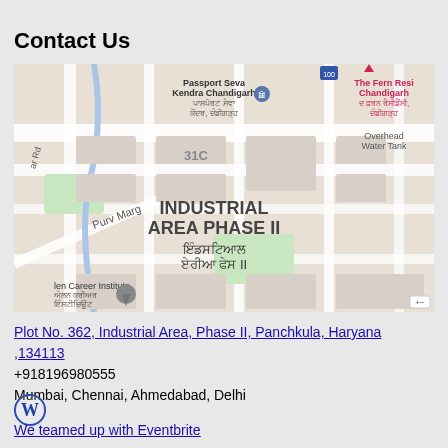Contact Us
[Figure (map): Google Maps screenshot showing Industrial Area Phase II, Panchkula area with landmarks including Passport Seva Kendra Chandigarh, The Fern Residency Chandigarh, Overhead Water Tank, Allen Career Institute, street labels including Purv Marg, and area label 31C.]
Plot No. 362, Industrial Area, Phase II, Panchkula, Haryana ,134113
+918196980555
Mumbai, Chennai, Ahmedabad, Delhi
[Figure (logo): WordPress logo icon in blue]
We teamed up with Eventbrite